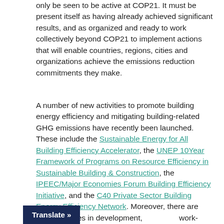only be seen to be active at COP21. It must be present itself as having already achieved significant results, and as organized and ready to work collectively beyond COP21 to implement actions that will enable countries, regions, cities and organizations achieve the emissions reduction commitments they make.
A number of new activities to promote building energy efficiency and mitigating building-related GHG emissions have recently been launched. These include the Sustainable Energy for All Building Efficiency Accelerator, the UNEP 10Year Framework of Programs on Resource Efficiency in Sustainable Building & Construction, the IPEEC/Major Economies Forum Building Efficiency Initiative, and the C40 Private Sector Building Energy Efficiency Network. Moreover, there are more activities in development, [work-stream on energy efficient] [Nationally...]